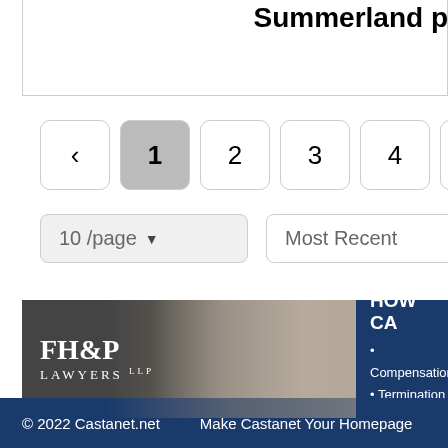Summerland p
‹ 1 2 3 4 ›
10 /page  Most Recent
[Figure (photo): FH&P Lawyers LLP advertisement banner showing a smiling woman with a man in background, alongside dark blue panel with text HOW CA, Compensation, Termination, Contracts]
© 2022 Castanet.net    Make Castanet Your Homepage    News